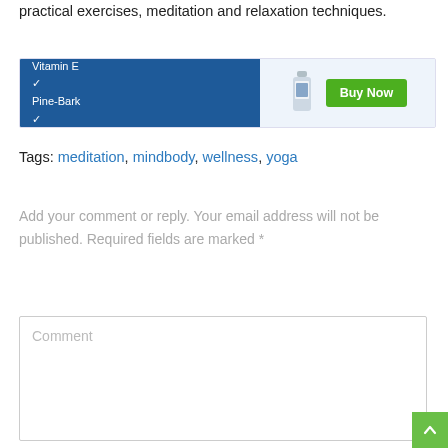practical exercises, meditation and relaxation techniques.
[Figure (other): Advertisement banner with blue left panel listing Vitamin E, Pine-Bark, Grape Seed with checkmarks, and right panel with supplement bottle image and green Buy Now button]
Tags: meditation, mindbody, wellness, yoga
Add your comment or reply. Your email address will not be published. Required fields are marked *
Comment